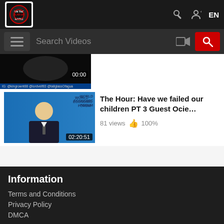[Figure (screenshot): Website header with logo, key icon, person icon, and EN language selector on dark background]
[Figure (screenshot): Search bar with hamburger menu button, search input field reading 'Search Videos', camera icon, and red search button]
[Figure (photo): Partial video thumbnail of dark faces with duration 00:00 and Instagram handles overlay]
[Figure (photo): Video thumbnail of man in suit at World Economic Forum with duration 02:20:51]
The Hour: Have we failed our children PT 3 Guest Ocie…
81 views  👍 100%
Information
Terms and Conditions
Privacy Policy
DMCA